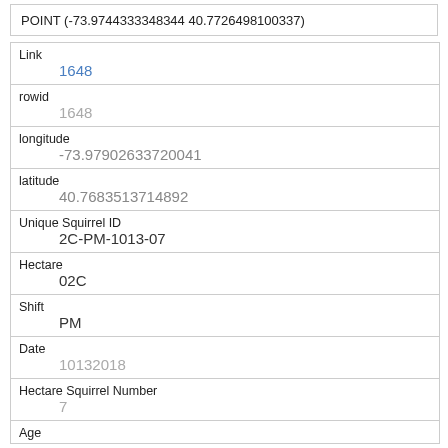POINT (-73.9744333348344 40.7726498100337)
| Field | Value |
| --- | --- |
| Link | 1648 |
| rowid | 1648 |
| longitude | -73.97902633720041 |
| latitude | 40.7683513714892 |
| Unique Squirrel ID | 2C-PM-1013-07 |
| Hectare | 02C |
| Shift | PM |
| Date | 10132018 |
| Hectare Squirrel Number | 7 |
| Age |  |